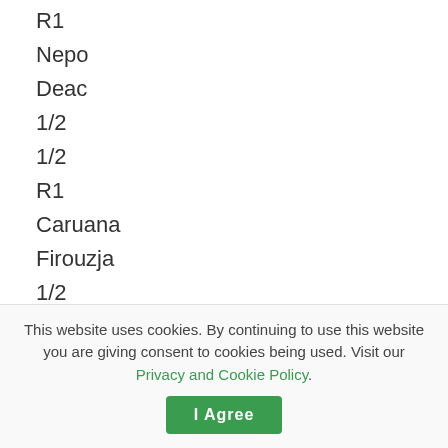R1
Nepo
Deac
1/2
1/2
R1
Caruana
Firouzja
1/2
1/2
R1
MVL
Dominguez
1/2
This website uses cookies. By continuing to use this website you are giving consent to cookies being used. Visit our Privacy and Cookie Policy.